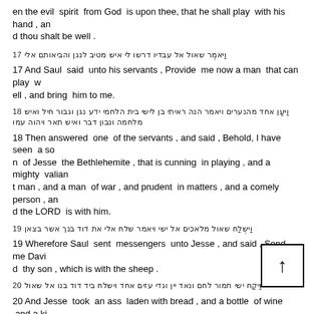en the evil spirit from God is upon thee, that he shall play with his hand , and thou shalt be well .
17 [Hebrew text] And Saul said unto his servants , Provide me now a man that can play well , and bring him to me.
18 [Hebrew text] Then answered one of the servants , and said , Behold, I have seen a son of Jesse the Bethlehemite , that is cunning in playing , and a mighty valiant man , and a man of war , and prudent in matters , and a comely person , and the LORD is with him.
19 [Hebrew text] Wherefore Saul sent messengers unto Jesse , and said , Send me David thy son , which is with the sheep .
20 [Hebrew text] And Jesse took an ass laden with bread , and a bottle of wine , and a kid , and sent them by David his son unto Saul .
21 [Hebrew text]